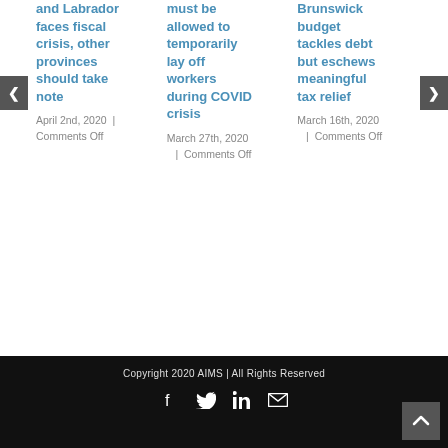and Labrador faces fiscal crisis, other provinces should take note
April 2nd, 2020  |  Comments Off
must be allowed to temporarily lay off workers during COVID crisis
March 27th, 2020  |  Comments Off
Brunswick budget tackles debt but eschews meaningful tax relief
March 16th, 2020  |  Comments Off
Copyright 2020 AIMS | All Rights Reserved